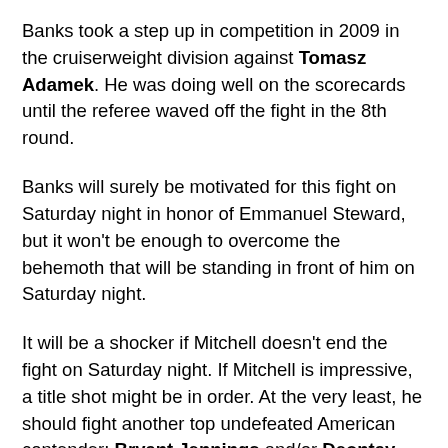Banks took a step up in competition in 2009 in the cruiserweight division against Tomasz Adamek. He was doing well on the scorecards until the referee waved off the fight in the 8th round.
Banks will surely be motivated for this fight on Saturday night in honor of Emmanuel Steward, but it won't be enough to overcome the behemoth that will be standing in front of him on Saturday night.
It will be a shocker if Mitchell doesn't end the fight on Saturday night. If Mitchell is impressive, a title shot might be in order. At the very least, he should fight another top undefeated American contender: Bryant Jennings and/or Deontay Wilder would make suitable opponents.
Antonio DeMarco (28-2) vs. Adrien Broner (24-0);